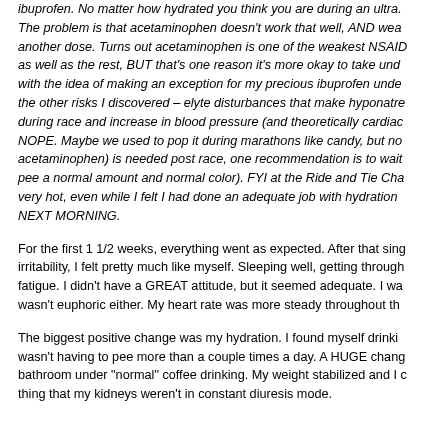ibuprofen. No matter how hydrated you think you are during an ultra. The problem is that acetaminophen doesn't work that well, AND wea another dose. Turns out acetaminophen is one of the weakest NSAID as well as the rest, BUT that's one reason it's more okay to take und with the idea of making an exception for my precious ibuprofen unde the other risks I discovered – elyte disturbances that make hyponatre during race and increase in blood pressure (and theoretically cardiac NOPE. Maybe we used to pop it during marathons like candy, but no acetaminophen) is needed post race, one recommendation is to wait pee a normal amount and normal color). FYI at the Ride and Tie Cha very hot, even while I felt I had done an adequate job with hydration NEXT MORNING.
For the first 1 1/2 weeks, everything went as expected. After that sing irritability, I felt pretty much like myself. Sleeping well, getting through fatigue. I didn't have a GREAT attitude, but it seemed adequate. I wa wasn't euphoric either. My heart rate was more steady throughout th
The biggest positive change was my hydration. I found myself drinki wasn't having to pee more than a couple times a day. A HUGE chang bathroom under "normal" coffee drinking. My weight stabilized and I c thing that my kidneys weren't in constant diuresis mode.